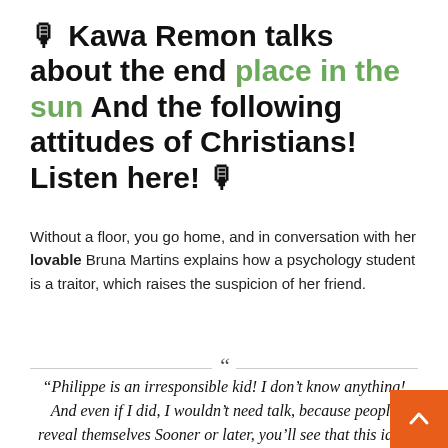🎙 Kawa Remon talks about the end place in the sun And the following attitudes of Christians! Listen here! 🎙
Without a floor, you go home, and in conversation with her lovable Bruna Martins explains how a psychology student is a traitor, which raises the suspicion of her friend.
“Philippe is an irresponsible kid! I don’t know anything! And even if I did, I wouldn’t need talk, because people reveal themselves Sooner or later, you’ll see that this idiot guy doesn’t deserve you!””